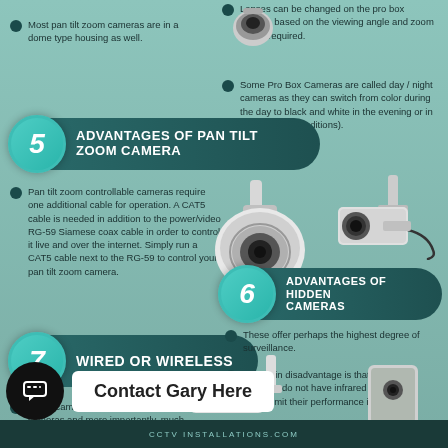Most pan tilt zoom cameras are in a dome type housing as well.
Lenses can be changed on the pro box camera based on the viewing angle and zoom that is required.
Some Pro Box Cameras are called day / night cameras as they can switch from color during the day to black and white in the evening or in low lux (light conditions).
5 ADVANTAGES OF PAN TILT ZOOM CAMERA
Pan tilt zoom controllable cameras require one additional cable for operation. A CAT5 cable is needed in addition to the power/video RG-59 Siamese coax cable in order to control it live and over the internet. Simply run a CAT5 cable next to the RG-59 to control your pan tilt zoom camera.
6 ADVANTAGES OF HIDDEN CAMERAS
7 WIRED OR WIRELESS
These offer perhaps the highest degree of surveillance.
The main disadvantage is that hidden cameras do not have infrared capabilities which limit their performance in low light.
Wired cameras offer a larger selection of cameras and more importantly, much better video quality
Wireless cameras can somewhat be misleading as they need to be powered at the camera location. In addition, they require a line of...
[Figure (photo): PTZ dome camera image top right]
[Figure (photo): PTZ speed dome camera center]
[Figure (photo): Pro box camera right side]
[Figure (photo): Bullet/wired outdoor camera]
[Figure (photo): Hidden camera device]
Contact Gary Here
CCTV INSTALLATIONS.COM